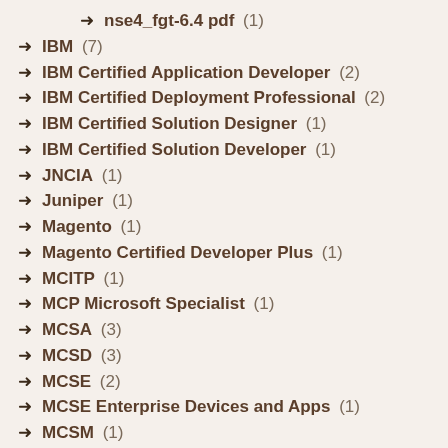nse4_fgt-6.4 pdf (1)
IBM (7)
IBM Certified Application Developer (2)
IBM Certified Deployment Professional (2)
IBM Certified Solution Designer (1)
IBM Certified Solution Developer (1)
JNCIA (1)
Juniper (1)
Magento (1)
Magento Certified Developer Plus (1)
MCITP (1)
MCP Microsoft Specialist (1)
MCSA (3)
MCSD (3)
MCSE (2)
MCSE Enterprise Devices and Apps (1)
MCSM (1)
Microsoft (28)